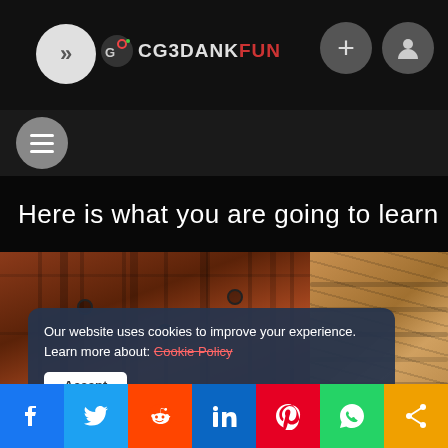[Figure (screenshot): CG3DANKFUN website navigation bar with logo, menu button, add and account icons]
[Figure (screenshot): Hamburger/menu button sub-navigation bar]
Here is what you are going to learn in
[Figure (photo): Two images: left shows a dark wooden plank texture with metal bolts, right shows warm-toned wooden planks lit by sunlight]
Our website uses cookies to improve your experience. Learn more about: Cookie Policy
Accept
FREE TUTORIALS   SUBSTANCE PAINTER TUTORIALS
[Figure (screenshot): Social sharing bar with Facebook, Twitter, Reddit, LinkedIn, Pinterest, WhatsApp, and share buttons]